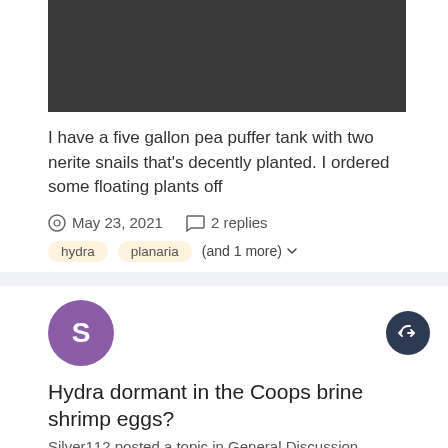[Figure (photo): Dark/black rectangular image placeholder at the top]
I have a five gallon pea puffer tank with two nerite snails that's decently planted. I ordered some floating plants off
May 23, 2021   2 replies
hydra   planaria   (and 1 more)
[Figure (photo): Purple avatar circle with letter S]
Hydra dormant in the Coops brine shrimp eggs?
Silver112 posted a topic in General Discussion
[Figure (photo): Dark rectangular image placeholder with No Image label]